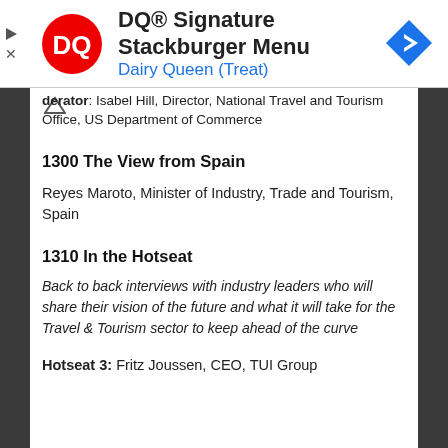[Figure (other): Dairy Queen advertisement banner showing DQ logo, text 'DQ® Signature Stackburger Menu' and 'Dairy Queen (Treat)', with a blue navigation arrow icon on the right]
derator: Isabel Hill, Director, National Travel and Tourism Office, US Department of Commerce
1300 The View from Spain
Reyes Maroto, Minister of Industry, Trade and Tourism, Spain
1310 In the Hotseat
Back to back interviews with industry leaders who will share their vision of the future and what it will take for the Travel & Tourism sector to keep ahead of the curve
Hotseat 3: Fritz Joussen, CEO, TUI Group